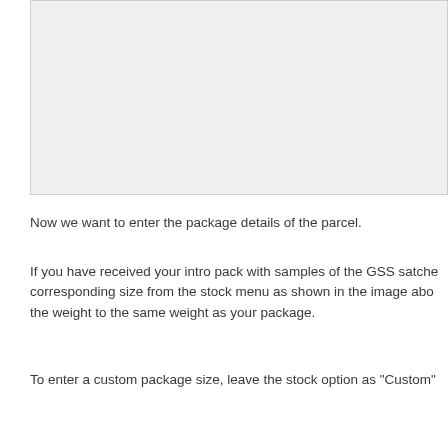[Figure (screenshot): Screenshot of a software interface showing package details entry form]
Now we want to enter the package details of the parcel.
If you have received your intro pack with samples of the GSS satche corresponding size from the stock menu as shown in the image abo the weight to the same weight as your package.
To enter a custom package size, leave the stock option as "Custom"